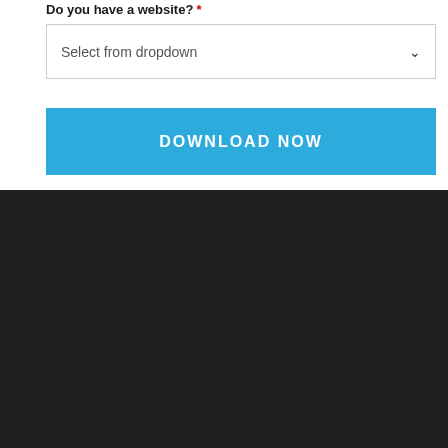Do you have a website? *
[Figure (screenshot): Dropdown field with placeholder text 'Select from dropdown' and a chevron arrow on the right]
[Figure (screenshot): Blue button labeled 'DOWNLOAD NOW' in white bold uppercase letters]
[Figure (screenshot): Dark/black background section filling the lower half of the page]